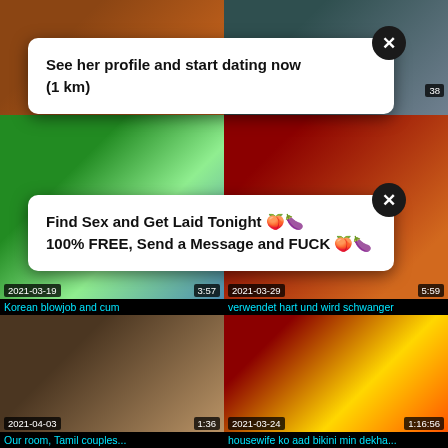[Figure (screenshot): Video thumbnail grid with overlaid dating/adult ad popups. Top row: two video thumbnails. Middle row: two video thumbnails with date 2021-03-19 duration 3:57 and date 2021-03-29 duration 5:59. Bottom row: two video thumbnails with dates 2021-04-03 duration 1:36 and 2021-03-24 duration 1:16:56.]
See her profile and start dating now
(1 km)
Find Sex and Get Laid Tonight 🍑🍆
100% FREE, Send a Message and FUCK 🍑🍆
Korean blowjob and cum
verwendet hart und wird schwanger
Our room, Tamil couples...
housewife ko aad bikini min dekha...